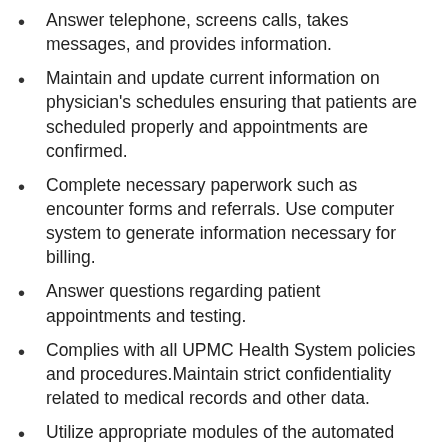Answer telephone, screens calls, takes messages, and provides information.
Maintain and update current information on physician's schedules ensuring that patients are scheduled properly and appointments are confirmed.
Complete necessary paperwork such as encounter forms and referrals. Use computer system to generate information necessary for billing.
Answer questions regarding patient appointments and testing.
Complies with all UPMC Health System policies and procedures.Maintain strict confidentiality related to medical records and other data.
Utilize appropriate modules of the automated financial management system for scheduling, information verification, entering charges, co-payment collection/ reconciliation and other